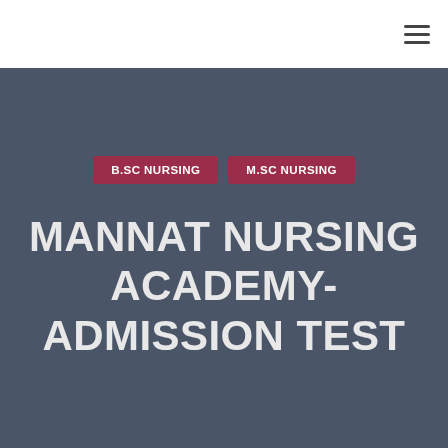☰
B.SC NURSING   M.SC NURSING
MANNAT NURSING ACADEMY-ADMISSION TEST